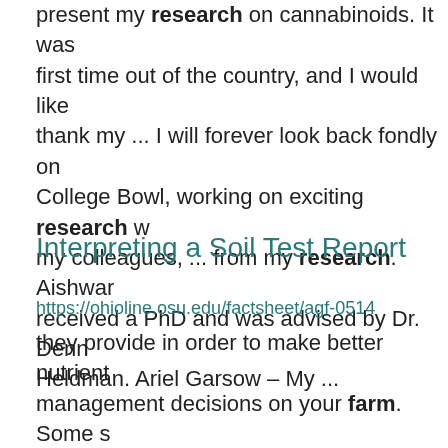present my research on cannabinoids. It was first time out of the country, and I would like thank my ... I will forever look back fondly on College Bowl, working on exciting research w my colleagues, ... from my research. Aishwar received a PhD and was advised by Dr. Denn Heldman. Ariel Garsow – My ...
Interpreting a Soil Test Report
https://ohioline.osu.edu/factsheet/agf-0514
they provide in order to make better nutrient management decisions on your farm. Some s test report ... on-farm and experiment station studies. The studies correlate phosphorus an potassium soil test values to crop production...